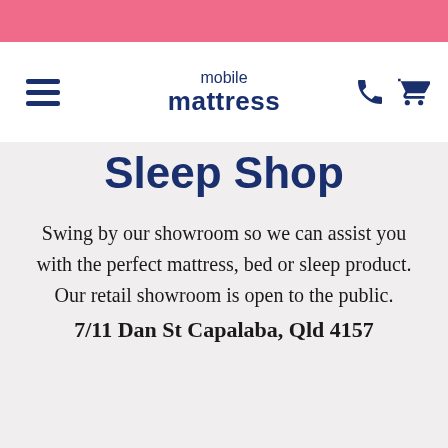mobile mattress
Sleep Shop
Swing by our showroom so we can assist you with the perfect mattress, bed or sleep product. Our retail showroom is open to the public.
7/11 Dan St Capalaba, Qld 4157